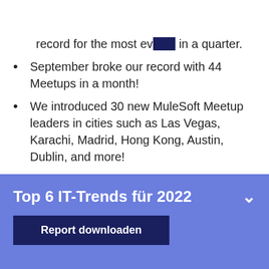[Figure (logo): MuleSoft logo — dark navy rectangle with teal circular M icon]
record for the most events in a quarter.
September broke our record with 44 Meetups in a month!
We introduced 30 new MuleSoft Meetup leaders in cities such as Las Vegas, Karachi, Madrid, Hong Kong, Austin, Dublin, and more!
Our Online Group English and Spanish hosted a new type of Meetup focused on MuleSoft for Java
Top 6 IT-Trends für 2022
Report downloaden